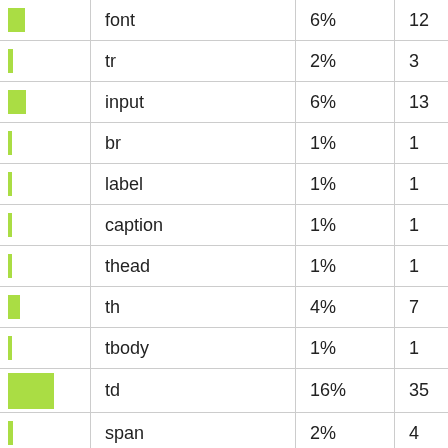| (bar) | tag | % | count |
| --- | --- | --- | --- |
| (bar ~6%) | font | 6% | 12 |
| (bar ~2%) | tr | 2% | 3 |
| (bar ~6%) | input | 6% | 13 |
| (bar ~1%) | br | 1% | 1 |
| (bar ~1%) | label | 1% | 1 |
| (bar ~1%) | caption | 1% | 1 |
| (bar ~1%) | thead | 1% | 1 |
| (bar ~4%) | th | 4% | 7 |
| (bar ~1%) | tbody | 1% | 1 |
| (bar ~16%) | td | 16% | 35 |
| (bar ~2%) | span | 2% | 4 |
| (bar ~7%) | script | 7% | 15 |